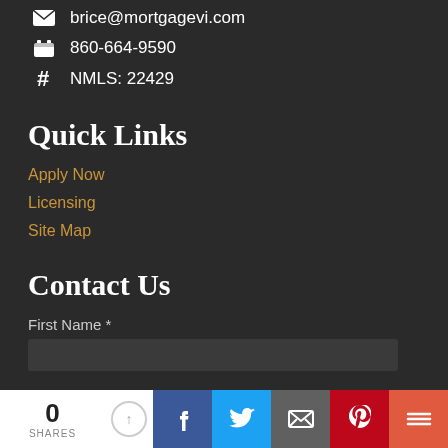brice@mortgagevi.com
860-664-9590
NMLS: 22429
Quick Links
Apply Now
Licensing
Site Map
Contact Us
First Name *
0 SHARES